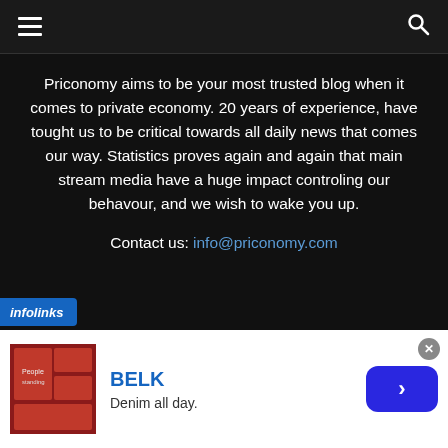☰  🔍
Priconomy aims to be your most trusted blog when it comes to private economy. 20 years of experience, have tought us to be critical towards all daily news that comes our way. Statistics proves again and again that main stream media have a huge impact controling our behavour, and we wish to wake you up.
Contact us: info@priconomy.com
FOLLOW US
[Figure (infographic): Social media icons: Facebook (f), Twitter (bird), Vimeo (V), VK, YouTube (play button)]
[Figure (infographic): Infolinks branding bar (bottom left overlay)]
[Figure (infographic): Advertisement banner: BELK brand, 'Denim all day.' tagline, with image and CTA arrow button, close button top-right]